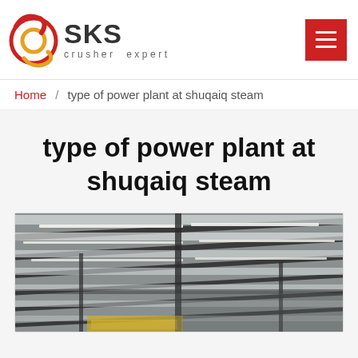SKS crusher expert
Home / type of power plant at shuqaiq steam
type of power plant at shuqaiq steam
[Figure (photo): Interior of a large industrial steel-frame building or factory with fluorescent strip lighting on the ceiling and heavy steel beams and girders.]